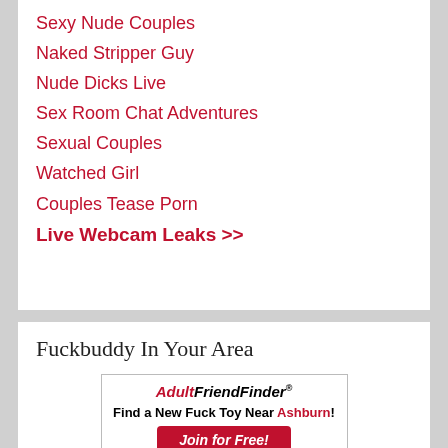Sexy Nude Couples
Naked Stripper Guy
Nude Dicks Live
Sex Room Chat Adventures
Sexual Couples
Watched Girl
Couples Tease Porn
Live Webcam Leaks >>
Fuckbuddy In Your Area
[Figure (infographic): AdultFriendFinder advertisement banner with 'Find a New Fuck Toy Near Ashburn!' text, 'Join for Free!' red button, and a map image with US 15 road marker and a photo thumbnail]